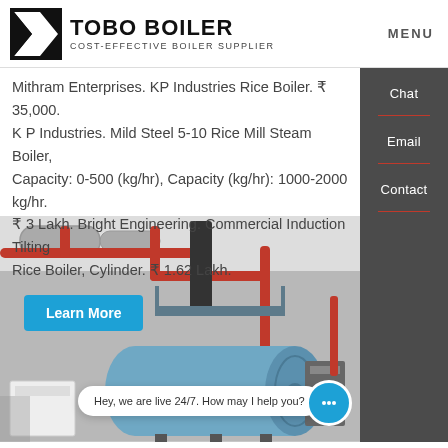TOBO BOILER — COST-EFFECTIVE BOILER SUPPLIER | MENU
Mithram Enterprises. KP Industries Rice Boiler. ₹ 35,000. K P Industries. Mild Steel 5-10 Rice Mill Steam Boiler, Capacity: 0-500 (kg/hr), Capacity (kg/hr): 1000-2000 kg/hr. ₹ 3 Lakh. Bright Engineering. Commercial Induction Tilting Rice Boiler, Cylinder. ₹ 1.62 Lakh.
Learn More
[Figure (photo): Industrial boiler room with a large horizontal blue boiler tank, red pipes, metal ducts, and structural supports in an indoor facility.]
Hey, we are live 24/7. How may I help you?